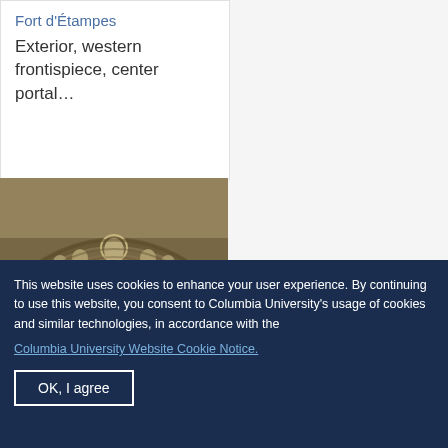Fort d'Étampes
Exterior, western frontispiece, center portal…
[Figure (photo): Stone relief sculpture on the tympanum of a Gothic portal, showing religious figures including a central bishop or saint flanked by other figures, with ornate carved stone archivolt above]
This website uses cookies to enhance your user experience. By continuing to use this website, you consent to Columbia University's usage of cookies and similar technologies, in accordance with the
Columbia University Website Cookie Notice.
OK, I agree